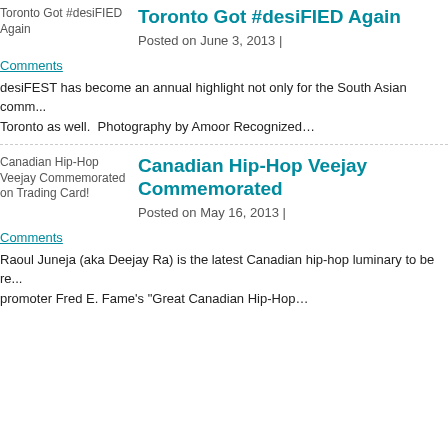[Figure (photo): Thumbnail image for 'Toronto Got #desiFIED Again' blog post]
Toronto Got #desiFIED Again
Posted on June 3, 2013 |
Comments
desiFEST has become an annual highlight not only for the South Asian comm... Toronto as well.  Photography by Amoor Recognized…
[Figure (photo): Thumbnail image for 'Canadian Hip-Hop Veejay Commemorated on Trading Card!' blog post]
Canadian Hip-Hop Veejay Commemorated
Posted on May 16, 2013 |
Comments
Raoul Juneja (aka Deejay Ra) is the latest Canadian hip-hop luminary to be re... promoter Fred E. Fame's "Great Canadian Hip-Hop…